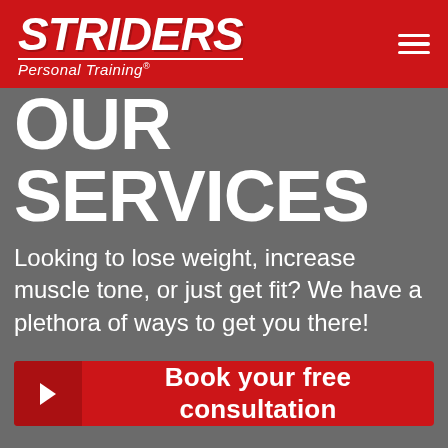STRIDERS Personal Training®
OUR SERVICES
Looking to lose weight, increase muscle tone, or just get fit? We have a plethora of ways to get you there!
Book your free consultation